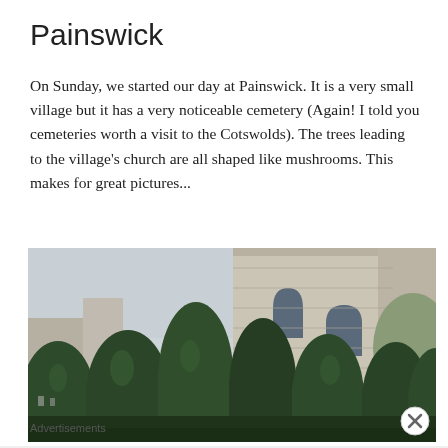Painswick
On Sunday, we started our day at Painswick. It is a very small village but it has a very noticeable cemetery (Again! I told you cemeteries worth a visit to the Cotswolds). The trees leading to the village's church are all shaped like mushrooms. This makes for great pictures...
[Figure (photo): Photograph of Painswick church with tall mushroom-shaped yew trees (dark green topiary cones) in the foreground and a stone Gothic church tower behind them, with hills visible in the background.]
Advertisements